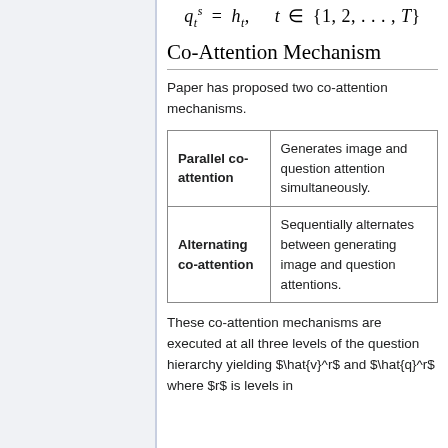Co-Attention Mechanism
Paper has proposed two co-attention mechanisms.
|  |  |
| --- | --- |
| Parallel co-attention | Generates image and question attention simultaneously. |
| Alternating co-attention | Sequentially alternates between generating image and question attentions. |
These co-attention mechanisms are executed at all three levels of the question hierarchy yielding $\hat{v}^r$ and $\hat{q}^r$ where $r$ is levels in